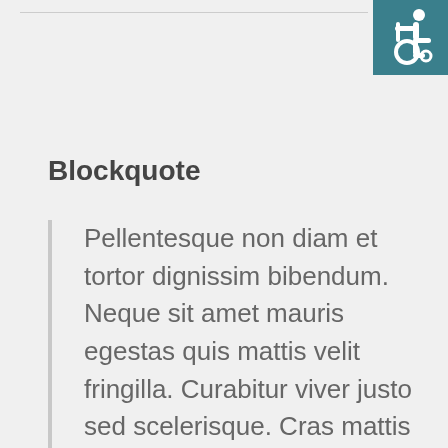[Figure (illustration): Accessibility icon (wheelchair symbol) in white on teal/dark cyan background square in top-right corner]
Blockquote
Pellentesque non diam et tortor dignissim bibendum. Neque sit amet mauris egestas quis mattis velit fringilla. Curabitur viver justo sed scelerisque. Cras mattis consectetur purus sit amet fermentum. Aenean eu leo quam. Pellentesque ornare sem lacinia quam venenatis